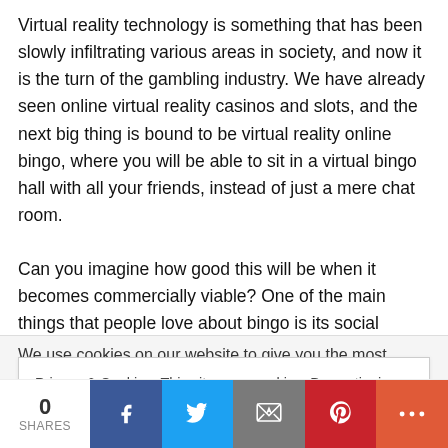Virtual reality technology is something that has been slowly infiltrating various areas in society, and now it is the turn of the gambling industry. We have already seen online virtual reality casinos and slots, and the next big thing is bound to be virtual reality online bingo, where you will be able to sit in a virtual bingo hall with all your friends, instead of just a mere chat room.

Can you imagine how good this will be when it becomes commercially viable? One of the main things that people love about bingo is its social aspect, and virtual reality
We use cookies on our website to give you the most relevant
Privacy & Cookies: This site uses cookies. By continuing to use this website, you agree to their use.
To find out more, including how to control cookies, see here: Cookie Policy